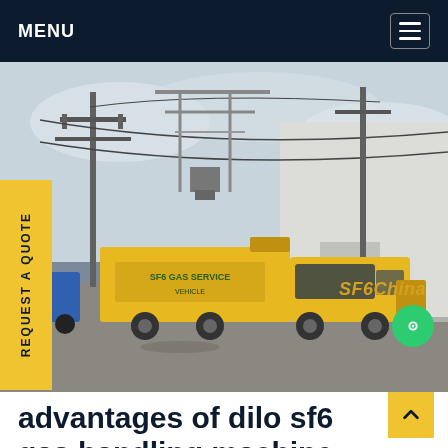MENU
[Figure (photo): Yellow SF6 gas handling truck parked at an industrial substation with overhead power lines and a white building in the background. The truck has a trailer with green text signage. Watermark reads SF6China in orange-gold italic text.]
REQUEST A QUOTE
advantages of dilo sf6 gas handling machine Libya